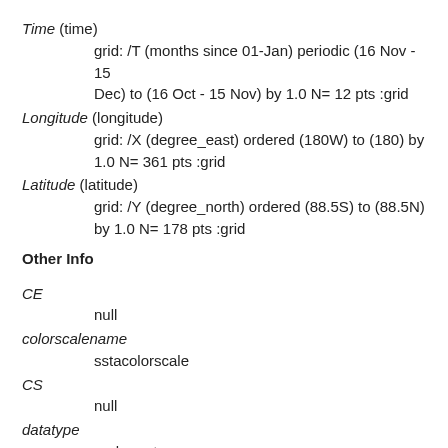Time (time)
    grid: /T (months since 01-Jan) periodic (16 Nov - 15 Dec) to (16 Oct - 15 Nov) by 1.0 N= 12 pts :grid
Longitude (longitude)
    grid: /X (degree_east) ordered (180W) to (180) by 1.0 N= 361 pts :grid
Latitude (latitude)
    grid: /Y (degree_north) ordered (88.5S) to (88.5N) by 1.0 N= 178 pts :grid
Other Info
CE
    null
colorscalename
    sstacolorscale
CS
    null
datatype
    realarraytype
maxncolor
    254
PLOTCOAST